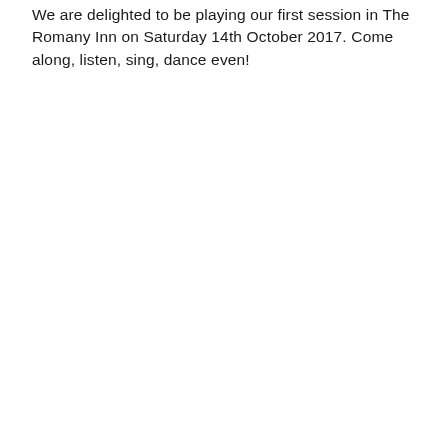We are delighted to be playing our first session in The Romany Inn on Saturday 14th October 2017. Come along, listen, sing, dance even!